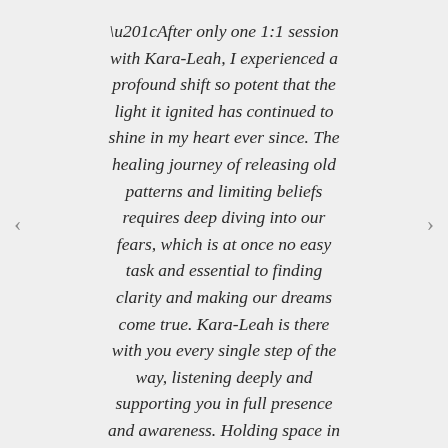“After only one 1:1 session with Kara-Leah, I experienced a profound shift so potent that the light it ignited has continued to shine in my heart ever since. The healing journey of releasing old patterns and limiting beliefs requires deep diving into our fears, which is at once no easy task and essential to finding clarity and making our dreams come true. Kara-Leah is there with you every single step of the way, listening deeply and supporting you in full presence and awareness. Holding space in unconditional love, she guides you fiercely and compassionately through the murk and into greater clarity, offering astute insights along the way that illuminate the very core of the...